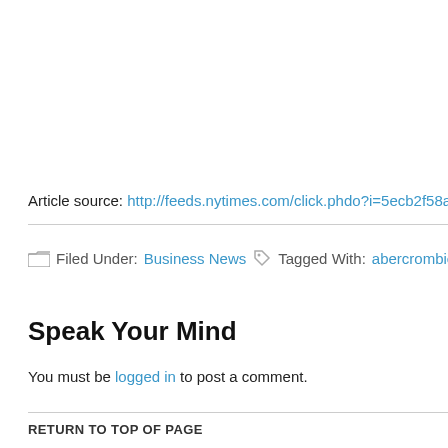Article source: http://feeds.nytimes.com/click.phdo?i=5ecb2f58aaf3ae87689e69e
Filed Under: Business News  Tagged With: abercrombie fitch, design chie
Speak Your Mind
You must be logged in to post a comment.
RETURN TO TOP OF PAGE